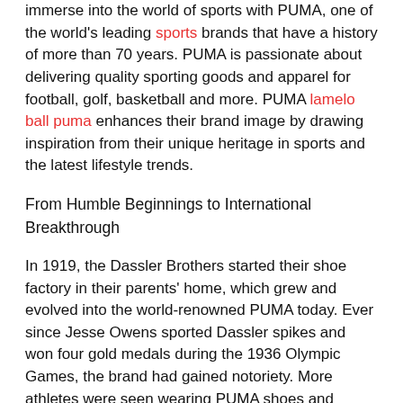immerse into the world of sports with PUMA, one of the world's leading sports brands that have a history of more than 70 years. PUMA is passionate about delivering quality sporting goods and apparel for football, golf, basketball and more. PUMA lamelo ball puma enhances their brand image by drawing inspiration from their unique heritage in sports and the latest lifestyle trends.
From Humble Beginnings to International Breakthrough
In 1919, the Dassler Brothers started their shoe factory in their parents' home, which grew and evolved into the world-renowned PUMA today. Ever since Jesse Owens sported Dassler spikes and won four gold medals during the 1936 Olympic Games, the brand had gained notoriety. More athletes were seen wearing PUMA shoes and apparel in subsequent world sporting events, crafting a global reputation for the brand.
lamelo ball puma